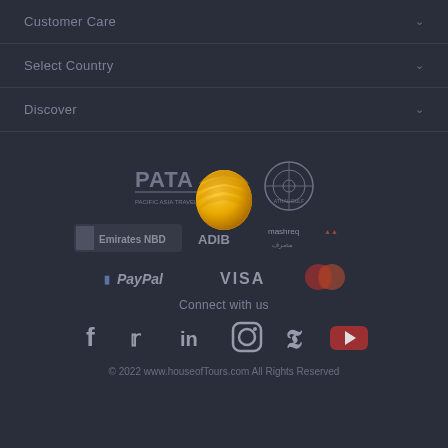Customer Care
Select Country
Discover
[Figure (logo): PATA logo and another circular logo side by side, with Etihad bee logo overlaid in center]
[Figure (logo): Emirates NBD, ADIB, and Mashreq bank logos]
[Figure (logo): PayPal, VISA, and Mastercard payment logos]
Connect with us
[Figure (infographic): Social media icons: Facebook, Twitter, LinkedIn, Instagram, Pinterest, YouTube]
© 2022 www.houseofTours.com All Rights Reserved